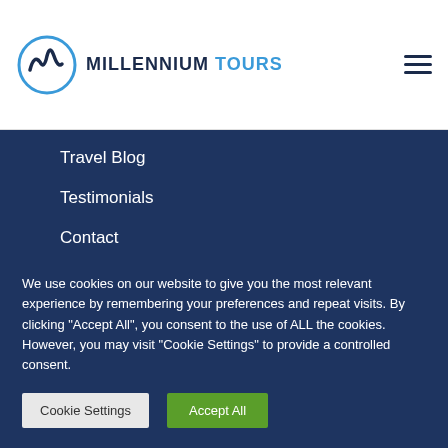MILLENNIUM TOURS
Travel Blog
Testimonials
Contact
Sitemap
We use cookies on our website to give you the most relevant experience by remembering your preferences and repeat visits. By clicking "Accept All", you consent to the use of ALL the cookies. However, you may visit "Cookie Settings" to provide a controlled consent.
Cookie Settings | Accept All